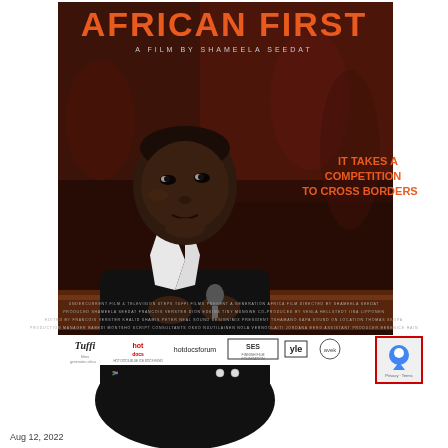[Figure (photo): Movie poster for 'African First', a documentary film by Shameela Seedat. Shows a young African woman in a black suit sitting at a desk holding a microphone, looking up. Dark reddish-brown atmospheric background. Title in orange text at top, tagline 'IT TAKES A COMPETITION TO CROSS BORDERS' on right side. Production credits at bottom. Logos bar at very bottom including Tuffi Films, Hot Docs, hotdocsforum, SES Finnish Film Foundation, yle, avek. Google Maps icon visible bottom right corner. Date 'Aug 12, 2022' visible at very bottom.]
Aug 12, 2022